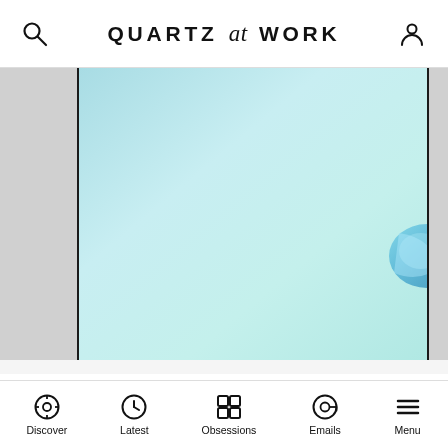QUARTZ at WORK
[Figure (photo): A photo with light blue/teal background and a blue lens or glass object partially visible at the right edge]
Those fears were underlined this week by the news that two more top executives are taking leave of the company. Engineer Matthew Schwall, who was the company's main point of contact for federal officials at the National
Discover  Latest  Obsessions  Emails  Menu